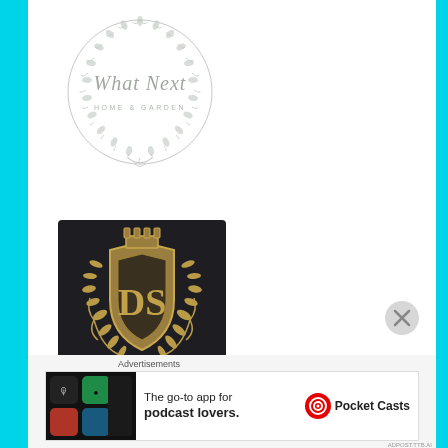[Figure (logo): What Next Home & Garden logo — circular wreath of grey illustrated leaves and branches surrounding cursive script text 'What Next' with smaller text 'HOME & GARDEN' below, in light grey tones]
[Figure (logo): DS crest logo — dark background with a golden heraldic shield featuring the letters D and S, topped with a castle/crown emblem, flanked by golden laurel branches, on a dark charcoal/black square background]
[Figure (illustration): Close/dismiss button — circular grey X symbol]
Advertisements
[Figure (screenshot): Pocket Casts advertisement banner: left side shows app icon tiles on dark background, center text reads 'The go-to app for podcast lovers.', right side shows Pocket Casts logo and name]